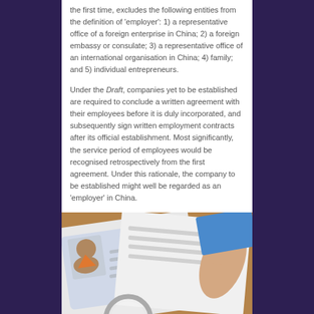the first time, excludes the following entities from the definition of 'employer': 1) a representative office of a foreign enterprise in China; 2) a foreign embassy or consulate; 3) a representative office of an international organisation in China; 4) family; and 5) individual entrepreneurs.
Under the Draft, companies yet to be established are required to conclude a written agreement with their employees before it is duly incorporated, and subsequently sign written employment contracts after its official establishment. Most significantly, the service period of employees would be recognised retrospectively from the first agreement. Under this rationale, the company to be established might well be regarded as an 'employer' in China.
[Figure (illustration): Illustration showing documents including what appears to be an ID card or passport with a person's photo, papers with text lines, and a hand holding or pointing at documents, on a brown/tan surface background. A magnifying glass is partially visible at the bottom.]